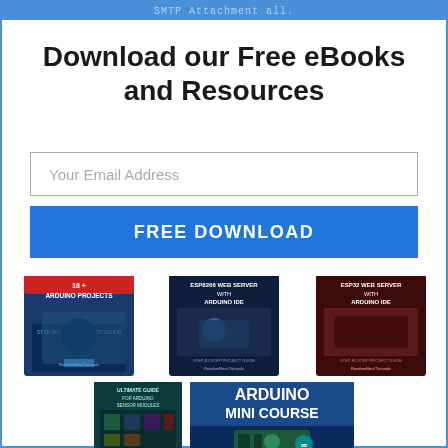SMTP Attachment all.
Download our Free eBooks and Resources
Your Email Address
FREE DOWNLOAD
[Figure (illustration): Five book/course covers: '18+ Arduino Projects', 'ESP8266 Web Server with Arduino IDE', 'ESP32 Web Server with Arduino IDE', 'Ultimate Guide for Arduino Sensor Modules', 'Arduino Mini Course']